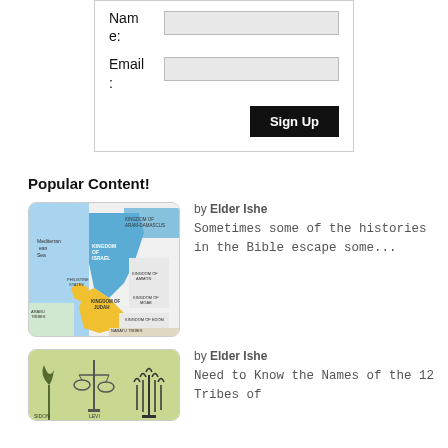Name:
Email:
Sign Up
Popular Content!
by Elder Ishe
Sometimes some of the histories in the Bible escape some...
[Figure (map): Map of ancient Israel and surrounding kingdoms including Kingdom of Israel, Kingdom of Judah, Kingdom of Aram-Damascus, Philistine States, Kingdom of Ammon, Kingdom of Moab, Kingdom of Edom, Nabatu Tribes, Mediterranean Sea]
by Elder Ishe
Need to Know the Names of the 12 Tribes of